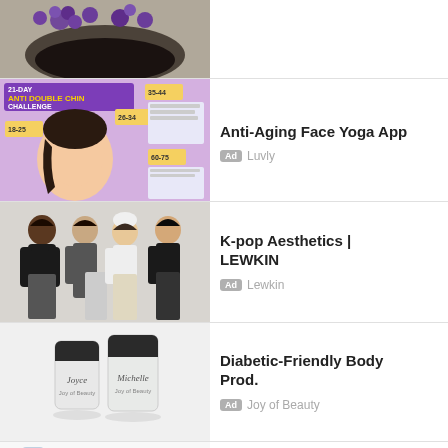[Figure (photo): Top partial image showing dark bowl with purple flowers on dark background]
[Figure (photo): 21-Day Anti Double Chin Challenge infographic with illustrated woman profile and age groups 18-25, 26-34, 35-44, 60-75, 76-85]
Anti-Aging Face Yoga App
Ad  Luvly
[Figure (photo): Four women in black outfits posing together for K-pop fashion brand LEWKIN]
K-pop Aesthetics | LEWKIN
Ad  Lewkin
[Figure (photo): Two white cream/lotion containers labeled Joyce and Michelle by Joy of Beauty]
Diabetic-Friendly Body Prod.
Ad  Joy of Beauty
[Figure (photo): Skin care product bottle with teal badges listing Moisturizes, Recovery, Rejuvenates, Nourishes the skin]
Face and Skin Care Products
Ad  SanMarine USA